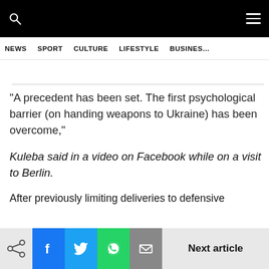NEWS  SPORT  CULTURE  LIFESTYLE  BUSINESS
“A precedent has been set. The first psychological barrier (on handing weapons to Ukraine) has been overcome,"
Kuleba said in a video on Facebook while on a visit to Berlin.
After previously limiting deliveries to defensive
Next article